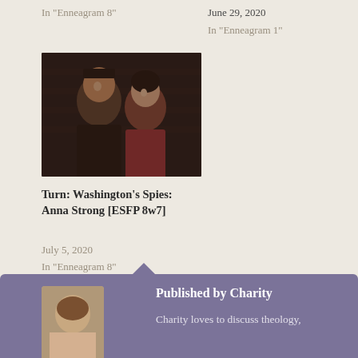In "Enneagram 8"
June 29, 2020
In "Enneagram 1"
[Figure (photo): Two people, a young man and a woman, from the TV show Turn: Washington's Spies]
Turn: Washington's Spies: Anna Strong [ESFP 8w7]
July 5, 2020
In "Enneagram 8"
3W4
HISTORICAL
ISTP
SAMUEL ROUKIN
TURN: WASHINGTON'S SPIES
Published by Charity
Charity loves to discuss theology,